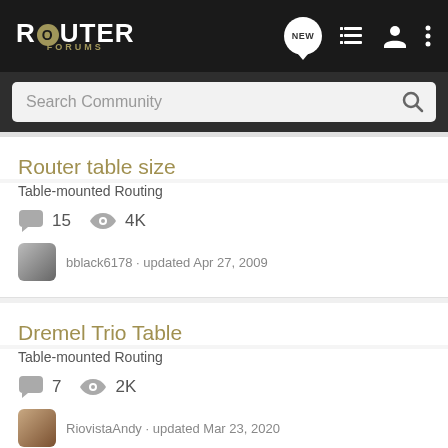ROUTER FORUMS
Search Community
Router table size
Table-mounted Routing
15 replies · 4K views · bblack6178 · updated Apr 27, 2009
Dremel Trio Table
Table-mounted Routing
7 replies · 2K views · RiovistaAndy · updated Mar 23, 2020